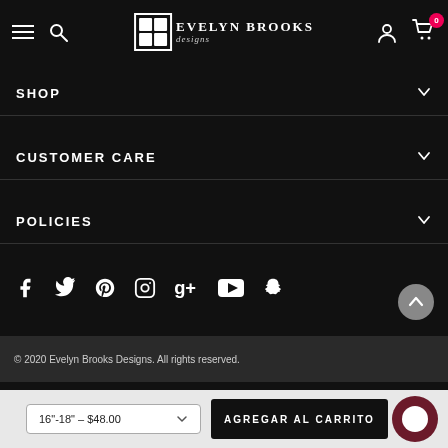[Figure (screenshot): Evelyn Brooks Designs website header with hamburger menu, search icon, logo, user icon, and cart icon with badge showing 0]
SHOP
CUSTOMER CARE
POLICIES
[Figure (infographic): Social media icons row: Facebook, Twitter, Pinterest, Instagram, Google+, YouTube, Snapchat]
© 2020 Evelyn Brooks Designs. All rights reserved.
16"-18" – $48.00
AGREGAR AL CARRITO